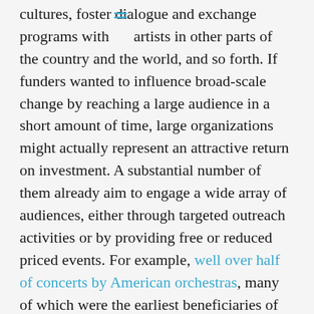cultures, foster dialogue and exchange programs with artists in other parts of the country and the world, and so forth. If funders wanted to influence broad-scale change by reaching a large audience in a short amount of time, large organizations might actually represent an attractive return on investment. A substantial number of them already aim to engage a wide array of audiences, either through targeted outreach activities or by providing free or reduced priced events. For example, well over half of concerts by American orchestras, many of which were the earliest beneficiaries of “elitist” early arts funding practices, are now specifically performed for community engagement or education.
Many programmatic advantages large organizations